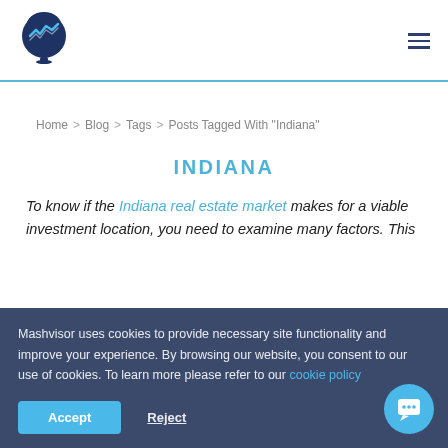[Figure (logo): Mashvisor logo: map pin with chart icon inside, dark blue]
Navigation header with Mashvisor logo and hamburger menu
Home > Blog > Tags > Posts Tagged With "Indiana"
INDIANA
To know if the Indiana real estate market makes for a viable investment location, you need to examine many factors. This
Mashvisor uses cookies to provide necessary site functionality and improve your experience. By browsing our website, you consent to our use of cookies. To learn more please refer to our cookie policy
Accept  Reject